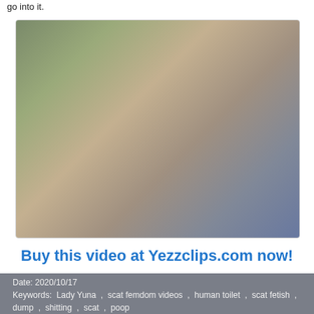go into it.
[Figure (photo): An explicit adult photograph in a bedroom setting]
Buy this video at Yezzclips.com now!
Date: 2020/10/17
Keywords: Lady Yuna , scat femdom videos , human toilet , scat fetish , dump , shitting , scat , poop